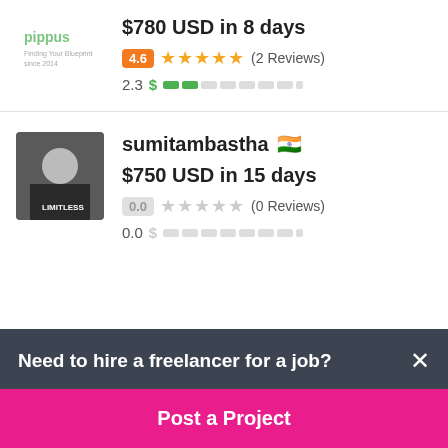[Figure (logo): Pippus company logo, green text]
$780 USD in 8 days
4.6 ★★★★★ (2 Reviews)
2.3 $ earnings bar
sumitambastha 🇮🇳
$750 USD in 15 days
0.0 ★★★★★ (0 Reviews)
0.0 $ earnings bar
Need to hire a freelancer for a job?
Post a Project